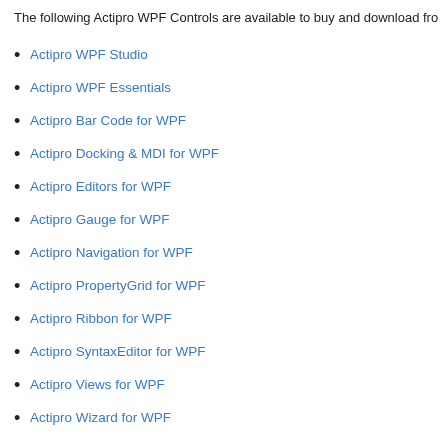The following Actipro WPF Controls are available to buy and download fro
Actipro WPF Studio
Actipro WPF Essentials
Actipro Bar Code for WPF
Actipro Docking & MDI for WPF
Actipro Editors for WPF
Actipro Gauge for WPF
Actipro Navigation for WPF
Actipro PropertyGrid for WPF
Actipro Ribbon for WPF
Actipro SyntaxEditor for WPF
Actipro Views for WPF
Actipro Wizard for WPF